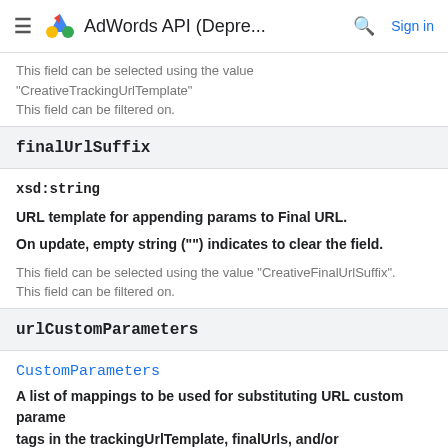AdWords API (Depre... Sign in
This field can be selected using the value "CreativeTrackingUrlTemplate"
This field can be filtered on.
finalUrlSuffix
xsd:string
URL template for appending params to Final URL.
On update, empty string ("") indicates to clear the field.
This field can be selected using the value "CreativeFinalUrlSuffix".
This field can be filtered on.
urlCustomParameters
CustomParameters
A list of mappings to be used for substituting URL custom parame tags in the trackingUrlTemplate, finalUrls, and/or finalMobileUrls.
This field is used for upgraded urls only, as described at: